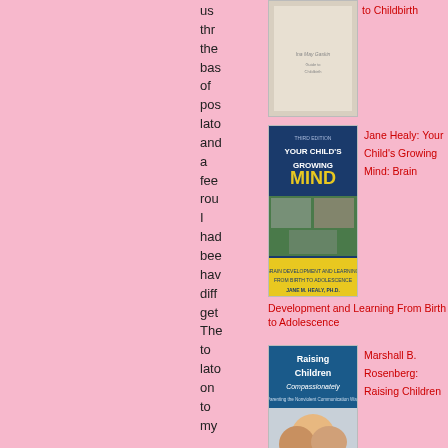us thr the bas of pos lato and a fee rou I had bee hav diff get The to lato on to my
[Figure (photo): Book cover: Ina May Gaskin - Guide to Childbirth]
to Childbirth
[Figure (photo): Book cover: Your Child's Growing Mind by Jane M. Healy, PhD - Third Edition, Brain Development and Learning From Birth to Adolescence]
Jane Healy: Your Child's Growing Mind: Brain Development and Learning From Birth to Adolescence
[Figure (photo): Book cover: Raising Children Compassionately - Parenting the Nonviolent Communication Way]
Marshall B. Rosenberg: Raising Children